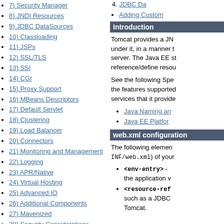7) Security Manager
8) JNDI Resources
9) JDBC DataSources
10) Classloading
11) JSPs
12) SSL/TLS
13) SSI
14) CGI
15) Proxy Support
16) MBeans Descriptors
17) Default Servlet
18) Clustering
19) Load Balancer
20) Connectors
21) Monitoring and Management
22) Logging
23) APR/Native
24) Virtual Hosting
25) Advanced IO
26) Additional Components
27) Mavenized
28) Security Considerations
29) Windows Service
30) Windows Authentication
31) Tomcat's JDBC Pool
4. JDBC Da...
Adding Custom...
Introduction
Tomcat provides a JN... under it, in a manner t... server. The Java EE st... reference/define resou...
See the following Spe... the features supported ... services that it provide...
Java Naming an...
Java EE Platfor...
web.xml configuration
The following elemen... INF/web.xml) of your...
<env-entry> - ... the application v...
<resource-ref... such as a JDBC... Tomcat.